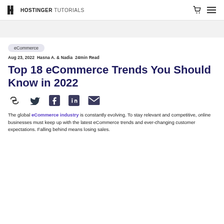HOSTINGER TUTORIALS
eCommerce
Aug 23, 2022  Hasna A. & Nadia  24min Read
Top 18 eCommerce Trends You Should Know in 2022
[Figure (other): Social sharing icons: link, Twitter, Facebook, LinkedIn, email]
The global eCommerce industry is constantly evolving. To stay relevant and competitive, online businesses must keep up with the latest eCommerce trends and ever-changing customer expectations. Falling behind means losing sales.